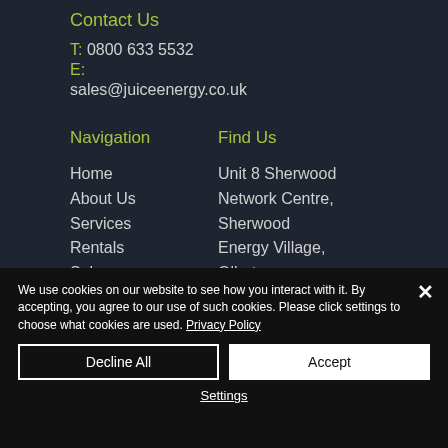Contact Us
T: 0800 633 5532
E:
sales@juiceenergy.co.uk
Navigation
Home
About Us
Services
Rentals
Sales
Find Us
Unit 8 Sherwood Network Centre, Sherwood Energy Village, Ollerton,
We use cookies on our website to see how you interact with it. By accepting, you agree to our use of such cookies. Please click settings to choose what cookies are used. Privacy Policy
Decline All
Accept
Settings